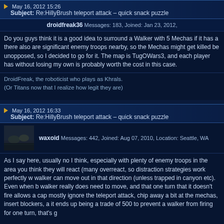May 16, 2012 15:26
Subject: Re:HillyBrush teleport attack – quick snack puzzle
droidfreak36 Messages: 183, Joined: Jan 23, 2012,
Do you guys think it is a good idea to surround a Walker with 5 Mechas if it has a there also are significant enemy troops nearby, so the Mechas might get killed be unopposed, so I decided to go for it. The map is TugOWars3, and each player has without losing my own is probably worth the cost in this case.
DroidFreak, the roboticist who plays as Khrals.
(Or Titans now that I realize how legit they are)
May 16, 2012 16:33
Subject: Re:HillyBrush teleport attack – quick snack puzzle
waxoid Messages: 442, Joined: Aug 07, 2010, Location: Seattle, WA
As I say here, usually no I think, especially with plenty of enemy troops in the area you think they will react (many overreact, so distraction strategies work perfectly w walker can move out in that direction (unless trapped in canyon etc). Even when b walker really does need to move, and that one turn that it doesn't fire allows a cap mostly ignore the teleport attack, chip away a bit at the mechas, insert blockers, a it ends up being a trade of 500 to prevent a walker from firing for one turn, that's g